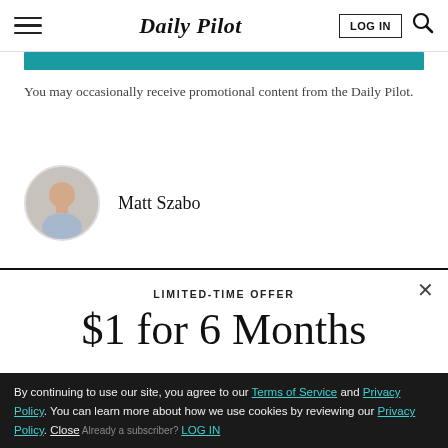Daily Pilot — navigation bar with hamburger menu, LOG IN button, and search icon
You may occasionally receive promotional content from the Daily Pilot.
[Figure (photo): Circular headshot portrait of Matt Szabo]
Matt Szabo
LIMITED-TIME OFFER
$1 for 6 Months
SUBSCRIBE NOW
By continuing to use our site, you agree to our Terms of Service and Privacy Policy. You can learn more about how we use cookies by reviewing our Privacy Policy. Close Already a subscriber? LOG IN